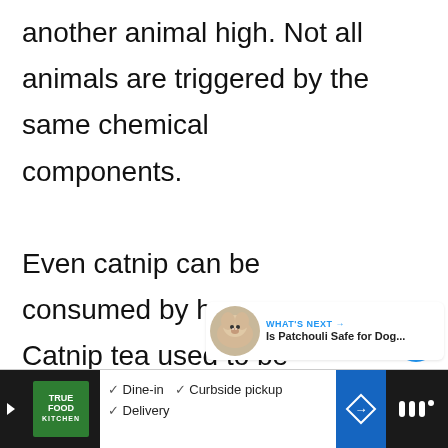another animal high. Not all animals are triggered by the same chemical components. Even catnip can be consumed by humans. Catnip tea used to be famous throughout Europe.
[Figure (screenshot): UI sidebar with heart/like button showing count of 3, and a share button]
[Figure (screenshot): What's Next panel with dog photo thumbnail and link: Is Patchouli Safe for Dog...]
[Figure (screenshot): Advertisement bar at bottom: True Food Kitchen - Dine-in, Curbside pickup, Delivery]